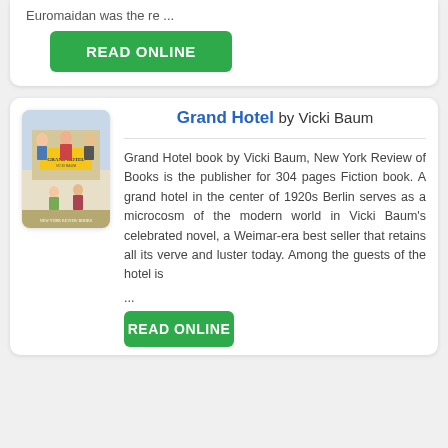Euromaidan was the re ...
READ ONLINE
[Figure (illustration): Book cover of Grand Hotel by Vicki Baum, showing illustrated figures of hotel guests in a colorful vintage style]
Grand Hotel by Vicki Baum
Grand Hotel book by Vicki Baum, New York Review of Books is the publisher for 304 pages Fiction book. A grand hotel in the center of 1920s Berlin serves as a microcosm of the modern world in Vicki Baum's celebrated novel, a Weimar-era best seller that retains all its verve and luster today. Among the guests of the hotel is
...
READ ONLINE